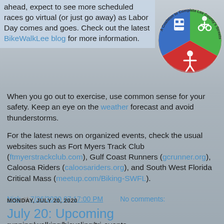ahead, expect to see more scheduled races go virtual (or just go away) as Labor Day comes and goes. Check out the latest BikeWalkLee blog for more information.
[Figure (logo): BikeWalkLee circular logo divided into three colored sections (blue with train, green with cyclist, red with pedestrian) with text 'A Coalition to Complete Lee County's Streets' around the edge.]
When you go out to exercise, use common sense for your safety. Keep an eye on the weather forecast and avoid thunderstorms.
For the latest news on organized events, check the usual websites such as Fort Myers Track Club (ftmyerstrackclub.com), Gulf Coast Runners (gcrunner.org), Caloosa Riders (caloosariders.org), and South West Florida Critical Mass (meetup.com/Biking-SWFL).
Nick at 7/26/2020 07:17:00 PM    No comments:
MONDAY, JULY 20, 2020
July 20: Upcoming
running/walking/bicycling/tri-events